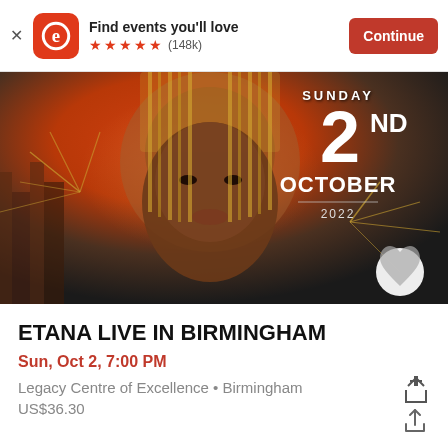Find events you'll love  ★★★★★ (148k)  Continue
[Figure (photo): Event promotional photo for Etana Live in Birmingham. A woman wearing a jeweled headdress against an orange/dark city background with the text SUNDAY 2ND OCTOBER 2022 overlaid.]
ETANA LIVE IN BIRMINGHAM
Sun, Oct 2, 7:00 PM
Legacy Centre of Excellence • Birmingham
US$36.30